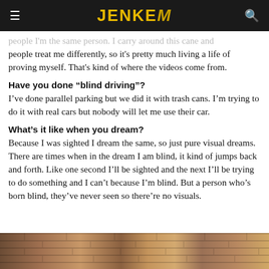JENKEM
people I'm the same person. I carry around this cane and people treat me differently, so it's pretty much living a life of proving myself. That's kind of where the videos come from.
Have you done “blind driving”?
I've done parallel parking but we did it with trash cans. I'm trying to do it with real cars but nobody will let me use their car.
What’s it like when you dream?
Because I was sighted I dream the same, so just pure visual dreams. There are times when in the dream I am blind, it kind of jumps back and forth. Like one second I'll be sighted and the next I'll be trying to do something and I can't because I'm blind. But a person who's born blind, they've never seen so there're no visuals.
[Figure (photo): Bottom strip showing brick wall building exterior]